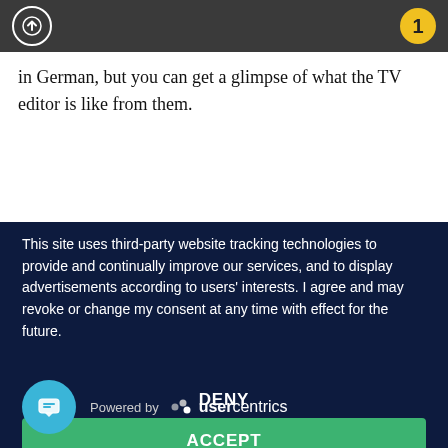Navigation bar with upload icon and notification badge (1)
in German, but you can get a glimpse of what the TV editor is like from them.
This site uses third-party website tracking technologies to provide and continually improve our services, and to display advertisements according to users' interests. I agree and may revoke or change my consent at any time with effect for the future.
DENY
ACCEPT
MORE
Powered by usercentrics